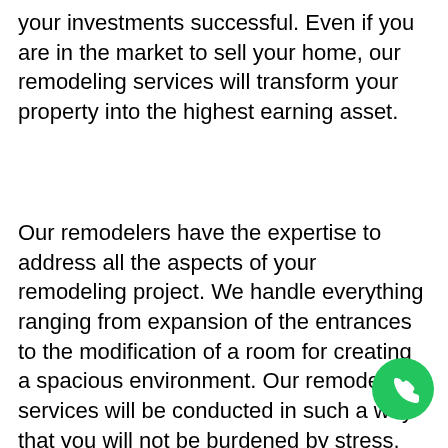your investments successful. Even if you are in the market to sell your home, our remodeling services will transform your property into the highest earning asset.
Our remodelers have the expertise to address all the aspects of your remodeling project. We handle everything ranging from expansion of the entrances to the modification of a room for creating a spacious environment. Our remodeling services will be conducted in such a way that you will not be burdened by stress. We know that functionality is an important facet, along with the visual aesthetics also playing a